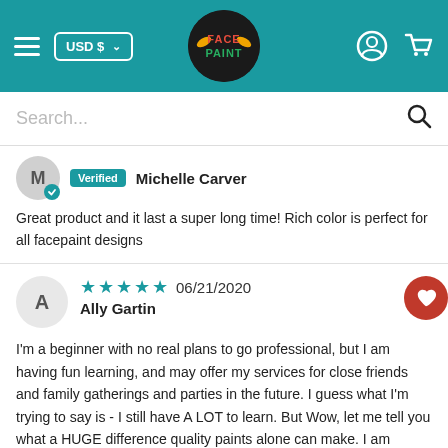[Figure (screenshot): Website header with teal background, hamburger menu, USD currency selector, Face Paint logo in center, user icon and cart icon on right]
[Figure (screenshot): Search bar with placeholder text 'Search...' and magnifying glass icon]
Verified Michelle Carver
Great product and it last a super long time! Rich color is perfect for all facepaint designs
★★★★★ 06/21/2020 Ally Gartin
I'm a beginner with no real plans to go professional, but I am having fun learning, and may offer my services for close friends and family gatherings and parties in the future. I guess what I'm trying to say is - I still have A LOT to learn. But Wow, let me tell you what a HUGE difference quality paints alone can make. I am happy to discover that I WAS making progress - but I wasn't able to see the fruits of my effort because of suppar leftover Halloween paints I had been using. I'm very happy with my purchase,